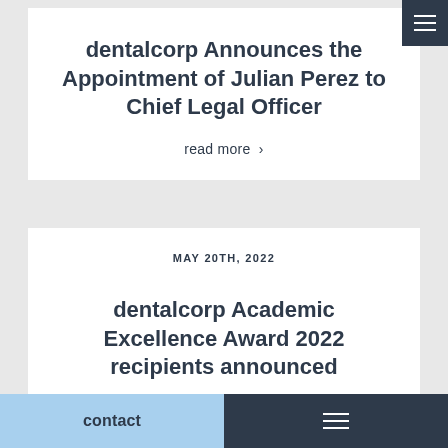dentalcorp Announces the Appointment of Julian Perez to Chief Legal Officer
read more >
MAY 20TH, 2022
dentalcorp Academic Excellence Award 2022 recipients announced
contact